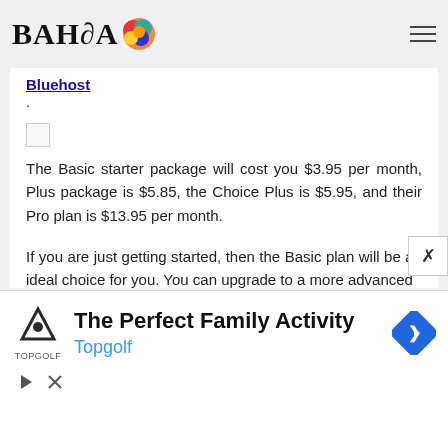BAHIA [logo]
Bluehost.
[Figure (photo): Broken image placeholder]
The Basic starter package will cost you $3.95 per month, Plus package is $5.85, the Choice Plus is $5.95, and their Pro plan is $13.95 per month.
If you are just getting started, then the Basic plan will be an ideal choice for you. You can upgrade to a more advanced
[Figure (infographic): Advertisement banner: The Perfect Family Activity - Topgolf]